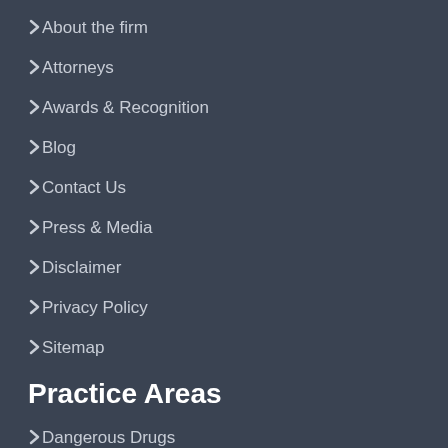About the firm
Attorneys
Awards & Recognition
Blog
Contact Us
Press & Media
Disclaimer
Privacy Policy
Sitemap
Practice Areas
Dangerous Drugs
Dietary Supplement Injury
Food Poisoning